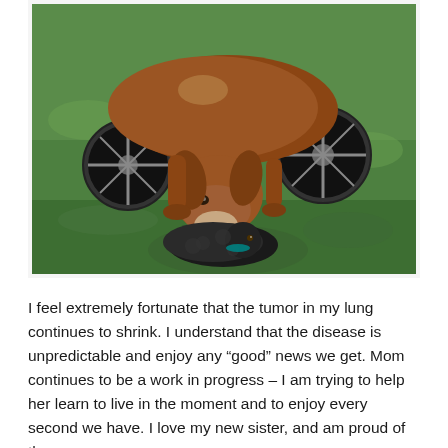[Figure (photo): A brown dog using a rear-wheel wheelchair cart stands on green grass. A small black curly-haired dog is lying on the grass underneath the brown dog, between its front legs and the wheelchair wheels.]
I feel extremely fortunate that the tumor in my lung continues to shrink. I understand that the disease is unpredictable and enjoy any “good” news we get. Mom continues to be a work in progress – I am trying to help her learn to live in the moment and to enjoy every second we have. I love my new sister, and am proud of the